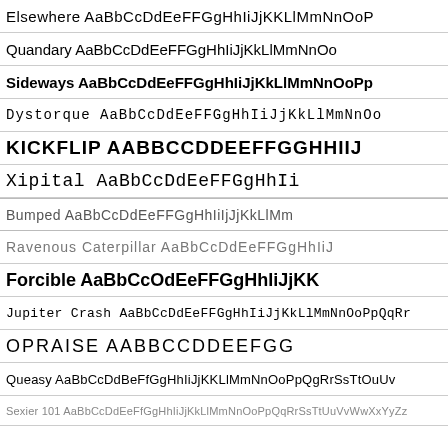Elsewhere AaBbCcDdEeFFGgHhIiJjKKLlMmNnOoP
Quandary AaBbCcDdEeFFGgHhIiJjKkLlMmNnOo
Sideways AaBbCcDdEeFFGgHhIiJjKkLlMmNnOoPp
Dystorque AaBbCcDdEeFFGgHhIiJjKkLlMmNnOo
KICKFLIP AABBCCDDEEFFGGHHIIJ
Xipital AaBbCcDdEeFFGgHhIi
Bumped AaBbCcDdEeFFGgHhIiIjJjKkLlMm
Ravenous Caterpillar AaBbCcDdEeFFGgHhIiJ
Forcible AaBbCcOdEeFFGgHhIiJjKK
Jupiter Crash AaBbCcDdEeFFGgHhIiJjKkLlMmNnOoPpQqRr
OPRAISE AABBCCDDEEFGG
Queasy AaBbCcDdBeFfGgHhIiJjKKLlMmNnOoPpQgRrSsTtOuUv
Sexier 101 AaBbCcDdEeFfGgHhIiJjKkLlMmNnOoPpQqRrSsTtUuVvWwXxYyZz